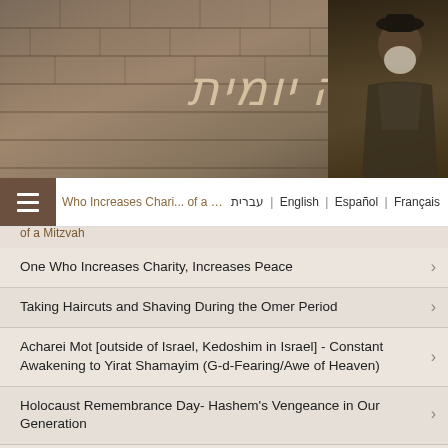[Figure (photo): Website header banner with stone wall (Western Wall) background and Hebrew text reading הלכה יומית (Halacha Yomit), with image of a rabbi on the right side]
עברית | English | Español | Français
Who Increases Charity... of a Mitzvah
One Who Increases Charity, Increases Peace
Taking Haircuts and Shaving During the Omer Period
Acharei Mot [outside of Israel, Kedoshim in Israel] - Constant Awakening to Yirat Shamayim (G-d-Fearing/Awe of Heaven)
Holocaust Remembrance Day- Hashem's Vengeance in Our Generation
Listening to Music During the Omer
More Customs Observed During the Omer Counting Period